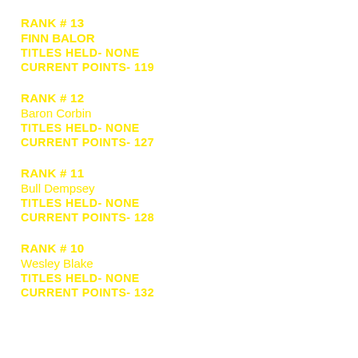RANK # 13
FINN BALOR
TITLES HELD- NONE
CURRENT POINTS- 119
RANK # 12
Baron Corbin
TITLES HELD- NONE
CURRENT POINTS- 127
RANK # 11
Bull Dempsey
TITLES HELD- NONE
CURRENT POINTS- 128
RANK # 10
Wesley Blake
TITLES HELD- NONE
CURRENT POINTS- 132